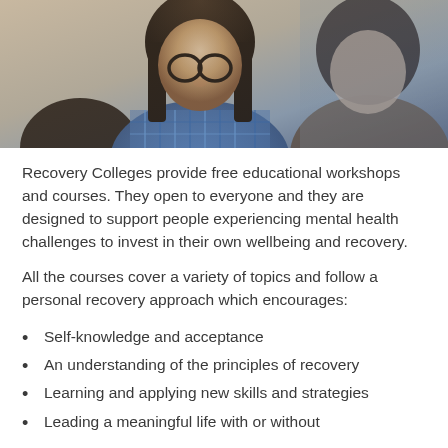[Figure (photo): Two people (students or participants) looking down at something, one with dark hair and glasses wearing a blue checkered shirt, another with dark hair; appears to be a group learning or workshop setting.]
Recovery Colleges provide free educational workshops and courses. They open to everyone and they are designed to support people experiencing mental health challenges to invest in their own wellbeing and recovery.
All the courses cover a variety of topics and follow a personal recovery approach which encourages:
Self-knowledge and acceptance
An understanding of the principles of recovery
Learning and applying new skills and strategies
Leading a meaningful life with or without